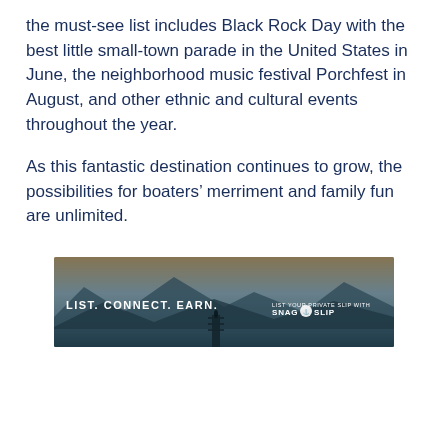the must-see list includes Black Rock Day with the best little small-town parade in the United States in June, the neighborhood music festival Porchfest in August, and other ethnic and cultural events throughout the year.
As this fantastic destination continues to grow, the possibilities for boaters’ merriment and family fun are unlimited.
[Figure (infographic): Advertisement banner for Snag-A-Slip: dark scenic image of a dock/pier extending over water with mountains and dusky sky in the background. White bold text on left reads 'LIST. CONNECT. EARN.' and smaller text on right reads 'LIST YOUR PRIVATE SLIP WITH SNAG A SLIP' with logo.]